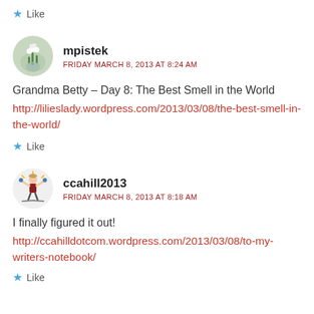Like
[Figure (photo): Round avatar photo of mpistek showing white flowers/lilies in a vase]
mpistek
FRIDAY MARCH 8, 2013 AT 8:24 AM
Grandma Betty – Day 8: The Best Smell in the World
http://lilieslady.wordpress.com/2013/03/08/the-best-smell-in-the-world/
Like
[Figure (illustration): Round avatar illustration of ccahill2013 showing a cartoon skier/angel figure with arms raised]
ccahill2013
FRIDAY MARCH 8, 2013 AT 8:18 AM
I finally figured it out!
http://ccahilldotcom.wordpress.com/2013/03/08/to-my-writers-notebook/
Like